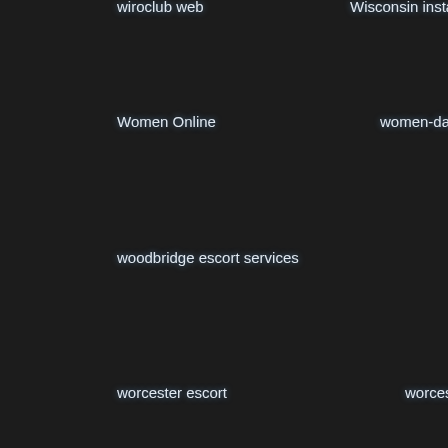wiroclub web
Wisconsin installment loans
WhyNot Eroty
Women Online
women-dating dating
Women's Choice D
woodbridge escort services
wooplus inscription
wooplus
worcester escort
worcester live escort review
write my c
write my essay for free
write my essays online
write my
write my papers for cheap
write my research papers
writ
www payday loans
xcheaters italia
XCheaters username
xdating seiten
xmatch funziona in italia
xmatch reviews
Xmeeting visitors
Xmeets review
xmeets sito di incontri